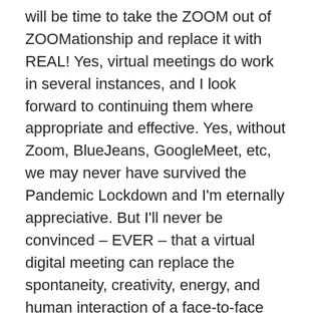will be time to take the ZOOM out of ZOOMationship and replace it with REAL! Yes, virtual meetings do work in several instances, and I look forward to continuing them where appropriate and effective. Yes, without Zoom, BlueJeans, GoogleMeet, etc, we may never have survived the Pandemic Lockdown and I'm eternally appreciative. But I'll never be convinced – EVER – that a virtual digital meeting can replace the spontaneity, creativity, energy, and human interaction of a face-to-face meeting. NEVER! EVER! Yes, I may be wrong about this maybe because I'm an old fuddy-duddy, but I don't care. There, I've said it.